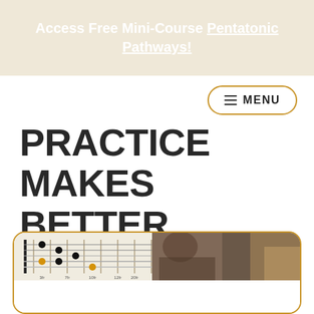Access Free Mini-Course Pentatonic Pathways!
PRACTICE MAKES BETTER MUSIC
[Figure (screenshot): A card with a guitar fretboard diagram on the left and a photo of a guitarist on the right, bordered in gold/amber with rounded corners.]